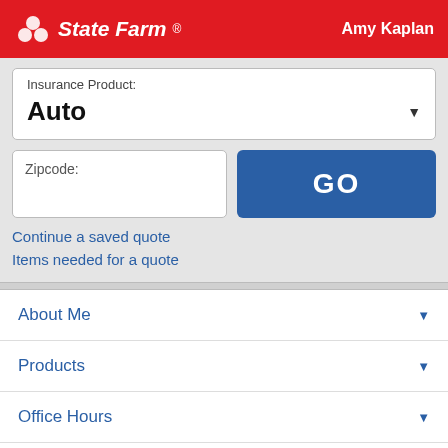State Farm — Amy Kaplan
Insurance Product: Auto
Zipcode:
GO
Continue a saved quote
Items needed for a quote
About Me
Products
Office Hours
Location & Phone
File A Claim